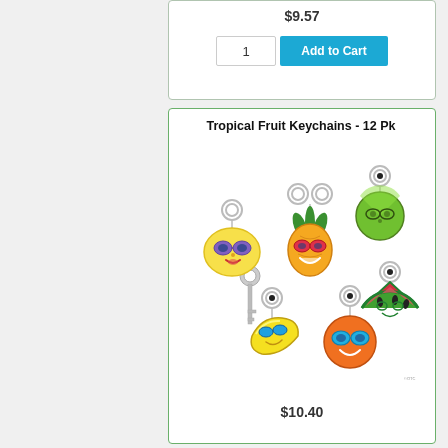$9.57
1
Add to Cart
Tropical Fruit Keychains - 12 Pk
[Figure (photo): Photo of colorful tropical fruit keychains with cartoon faces and sunglasses: lemon, pineapple, lime, banana, orange, and watermelon characters, each on a metal keyring, with a real key shown for scale.]
$10.40